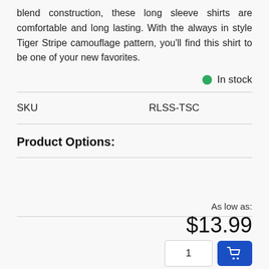blend construction, these long sleeve shirts are comfortable and long lasting. With the always in style Tiger Stripe camouflage pattern, you'll find this shirt to be one of your new favorites.
In stock
| SKU | RLSS-TSC |
| --- | --- |
Product Options:
As low as:
$13.99